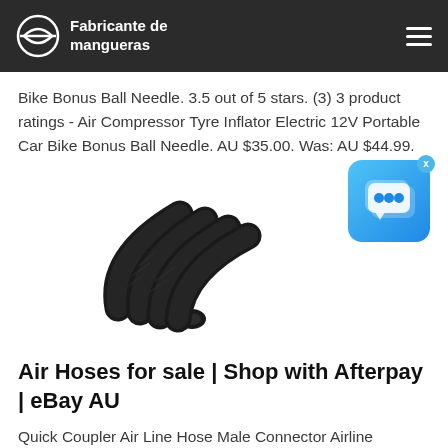Fabricante de mangueras
Bike Bonus Ball Needle. 3.5 out of 5 stars. (3) 3 product ratings - Air Compressor Tyre Inflator Electric 12V Portable Car Bike Bonus Ball Needle. AU $35.00. Was: AU $44.99.
[Figure (photo): Product photo of multiple black rubber air hoses/tubes bundled together, viewed from an angle showing the open circular ends.]
Air Hoses for sale | Shop with Afterpay | eBay AU
Quick Coupler Air Line Hose Male Connector Airline